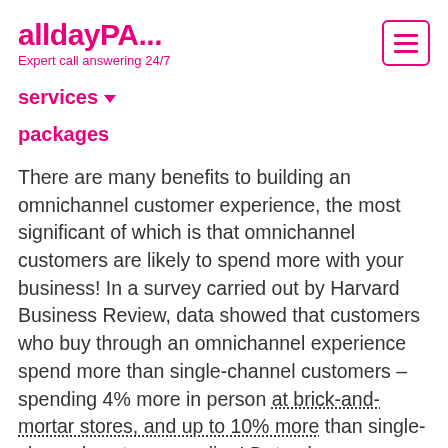alldayPA... Expert call answering 24/7
services ▼
packages
There are many benefits to building an omnichannel customer experience, the most significant of which is that omnichannel customers are likely to spend more with your business! In a survey carried out by Harvard Business Review, data showed that customers who buy through an omnichannel experience spend more than single-channel customers – spending 4% more in person at brick-and-mortar stores, and up to 10% more than single-channel customers online! Data also